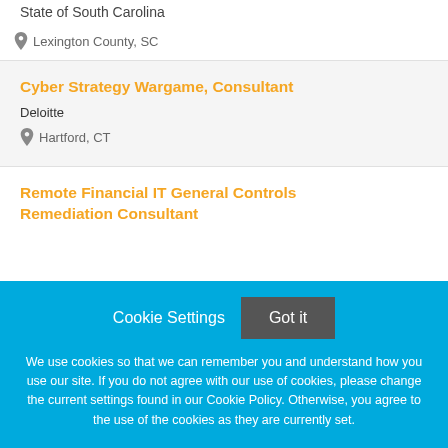State of South Carolina
Lexington County, SC
Cyber Strategy Wargame, Consultant
Deloitte
Hartford, CT
Remote Financial IT General Controls Remediation Consultant
Cookie Settings  Got it
We use cookies so that we can remember you and understand how you use our site. If you do not agree with our use of cookies, please change the current settings found in our Cookie Policy. Otherwise, you agree to the use of the cookies as they are currently set.